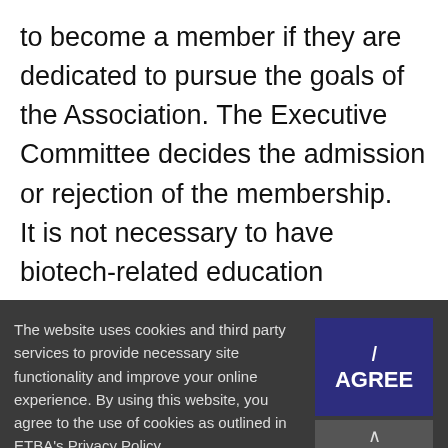to become a member if they are dedicated to pursue the goals of the Association. The Executive Committee decides the admission or rejection of the membership. It is not necessary to have biotech-related education background or professional expertise in order to become a member. A...
The website uses cookies and third party services to provide necessary site functionality and improve your online experience. By using this website, you agree to the use of cookies as outlined in ETBA's Privacy Policy